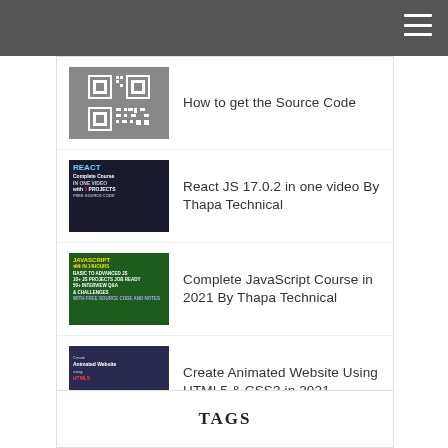Navigation header with hamburger menu
How to get the Source Code
React JS 17.0.2 in one video By Thapa Technical
Complete JavaScript Course in 2021 By Thapa Technical
Create Animated Website Using HTML5 & CSS3 in 2021
TAGS